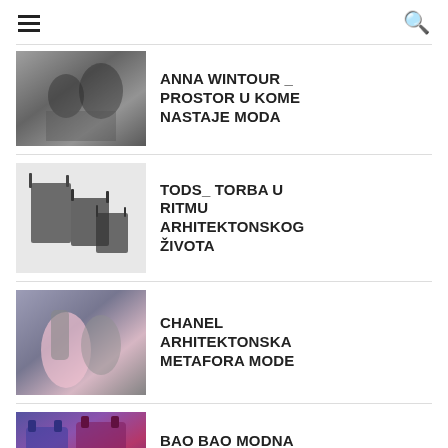Navigation header with hamburger menu and search icon
[Figure (photo): Black and white photo of two people, fashion related]
ANNA WINTOUR _ PROSTOR U KOME NASTAJE MODA
[Figure (photo): Photo of dark leather bags on white background]
TODS_ TORBA U RITMU ARHITEKTONSKOG ŽIVOTA
[Figure (photo): Photo of fashion show with pink dress and Chanel]
CHANEL ARHITEKTONSKA METAFORA MODE
[Figure (photo): Photo of colorful Bao Bao bags]
BAO BAO MODNA ARHITEKTURA